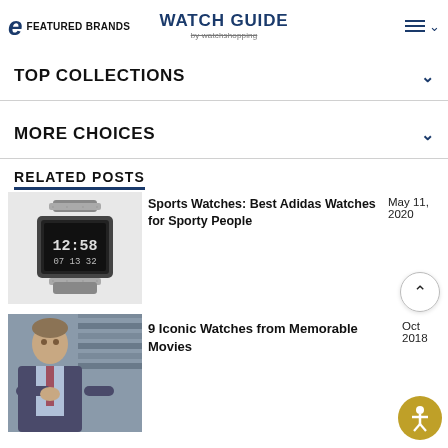WATCH GUIDE by watchshopping — FEATURED BRANDS navigation
TOP COLLECTIONS
MORE CHOICES
RELATED POSTS
[Figure (photo): Digital Adidas sports watch with metal bracelet showing 12:58 on display]
Sports Watches: Best Adidas Watches for Sporty People   May 11, 2020
[Figure (photo): Man in suit sitting at desk in an office scene from a movie]
9 Iconic Watches from Memorable Movies   Oct 2018